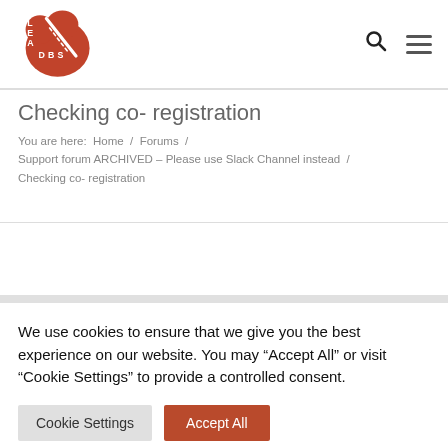LEADBS logo with search and menu icons
Checking co- registration
You are here: Home / Forums / Support forum ARCHIVED – Please use Slack Channel instead / Checking co- registration
We use cookies to ensure that we give you the best experience on our website. You may "Accept All" or visit "Cookie Settings" to provide a controlled consent.